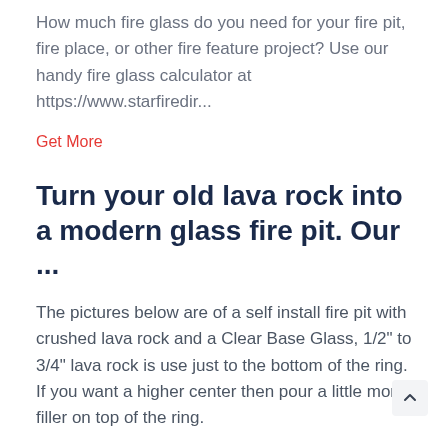How much fire glass do you need for your fire pit, fire place, or other fire feature project? Use our handy fire glass calculator at https://www.starfiredir...
Get More
Turn your old lava rock into a modern glass fire pit. Our ...
The pictures below are of a self install fire pit with crushed lava rock and a Clear Base Glass, 1/2" to 3/4" lava rock is use just to the bottom of the ring. If you want a higher center then pour a little more filler on top of the ring.